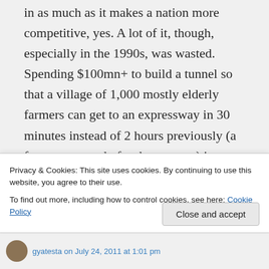in as much as it makes a nation more competitive, yes. A lot of it, though, especially in the 1990s, was wasted. Spending $100mn+ to build a tunnel so that a village of 1,000 mostly elderly farmers can get to an expressway in 30 minutes instead of 2 hours previously (a future case study for these pages) is not a great allocation of resources. And we'll probably find out eventually that the international financial markets will be blankly indifferent
Privacy & Cookies: This site uses cookies. By continuing to use this website, you agree to their use.
To find out more, including how to control cookies, see here: Cookie Policy
Close and accept
gyatesta on July 24, 2011 at 1:01 pm